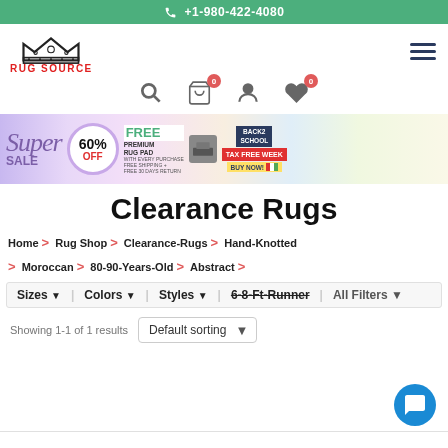+1-980-422-4080
[Figure (logo): Rug Source logo with crown and text]
[Figure (infographic): Super Sale 60% OFF banner with Free Premium Rug Pad and Back2School Tax Free Week offers]
Clearance Rugs
Home > Rug Shop > Clearance-Rugs > Hand-Knotted > Moroccan > 80-90-Years-Old > Abstract >
Sizes | Colors | Styles | 6-8-Ft-Runner | All Filters
Showing 1-1 of 1 results  Default sorting